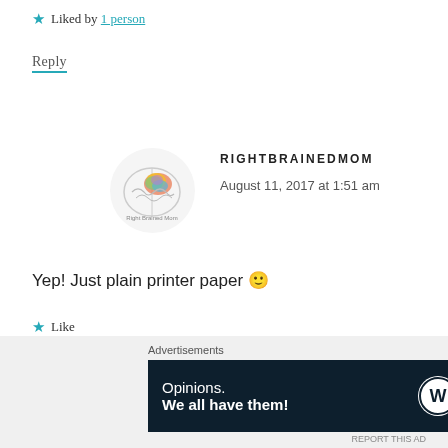★ Liked by 1 person
Reply
[Figure (logo): RightBrainedMom circular logo with colorful brain illustration]
RIGHTBRAINEDMOM
August 11, 2017 at 1:51 am
Yep! Just plain printer paper 🙂
★ Like
Reply
Advertisements
[Figure (screenshot): WordPress advertisement banner: Opinions. We all have them! with WordPress and Read Now logos]